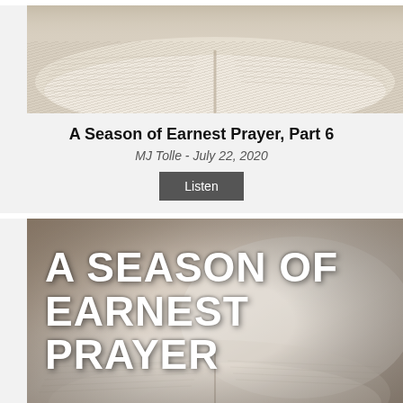[Figure (photo): Open Bible book pages photograph, top portion cropped]
A Season of Earnest Prayer, Part 6
MJ Tolle - July 22, 2020
Listen
[Figure (photo): Open Bible photograph with large white uppercase text overlay reading 'A SEASON OF EARNEST PRAYER']
A Season of Earnest Prayer, Part 5